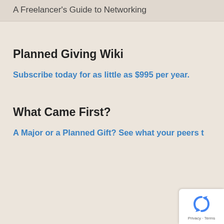A Freelancer's Guide to Networking
Planned Giving Wiki
Subscribe today for as little as $995 per year.
What Came First?
A Major or a Planned Gift? See what your peers t